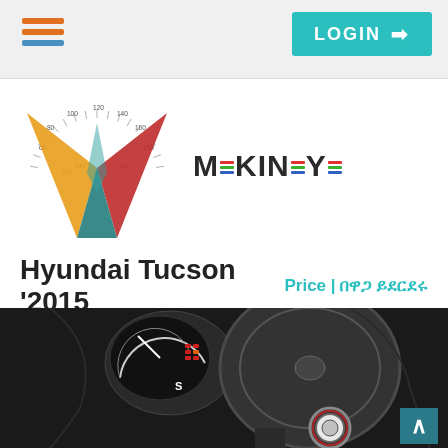LOGIN
[Figure (logo): Mekinaye logo with speedometer-style M graphic and MEKINAYE text]
Hyundai Tucson '2015
Price | በዋጋ ይደርደሩ
[Figure (photo): Interior photo of Hyundai Tucson 2015 showing steering wheel, dashboard cluster, and center console with start button. Mekinaye watermark visible. Navigation arrows on left and right sides.]